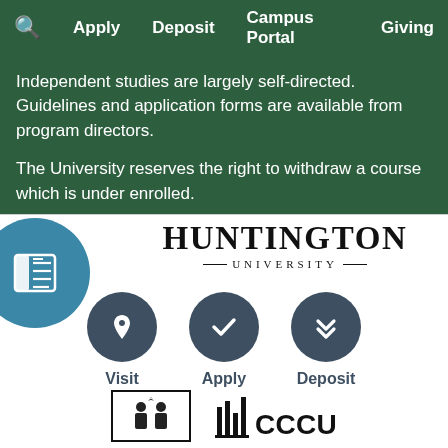🔍  Apply  Deposit  Campus Portal  Giving
Independent studies are largely self-directed. Guidelines and application forms are available from program directors.
The University reserves the right to withdraw a course which is under enrolled.
[Figure (logo): Huntington University wordmark logo with decorative lines flanking UNIVERSITY text]
[Figure (infographic): Three dark circle icon buttons labeled Visit (map pin), Apply (checkmark), Deposit (double chevron right)]
[Figure (logo): Two logos at bottom: a framed icon with figures and CCCU logo with column graphic]